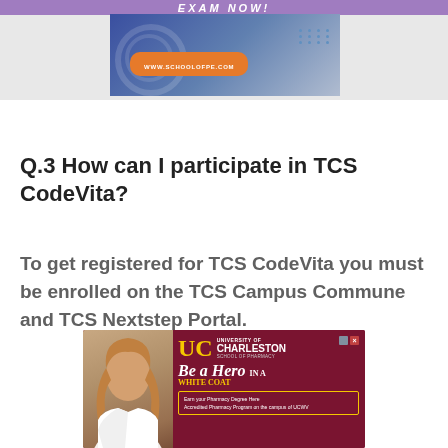[Figure (other): Advertisement banner for schoolofpe.com with purple top bar showing 'EXAM NOW!' text, blue/grey background with URL badge www.schoolofpe.com and dot grid pattern]
Q.3 How can I participate in TCS CodeVita?
To get registered for TCS CodeVita you must be enrolled on the TCS Campus Commune and TCS Nextstep Portal.
[Figure (other): Advertisement for University of Charleston School of Pharmacy featuring a woman in white coat and text 'Be a Hero IN A WHITE COAT — Earn your Pharmacy Degree Here — Accredited Pharmacy Program on the campus of UCWV']